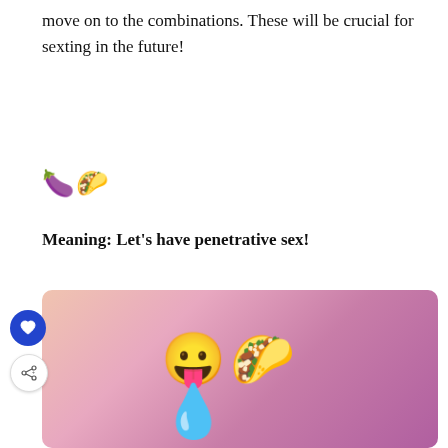move on to the combinations. These will be crucial for sexting in the future!
🍆🌮
Meaning: Let's have penetrative sex!
[Figure (illustration): Gradient pink-purple background image showing three emojis: a tongue/devil face emoji, a taco emoji, and blue water droplets emoji. A blue heart button and a share button are visible on the left side.]